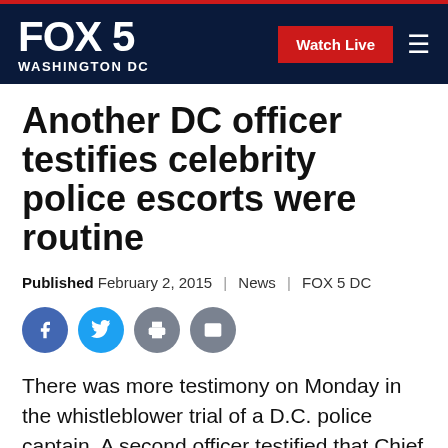FOX 5 WASHINGTON DC | Watch Live
Another DC officer testifies celebrity police escorts were routine
Published February 2, 2015 | News | FOX 5 DC
[Figure (other): Social sharing icons: Facebook, Twitter, Print, Email]
There was more testimony on Monday in the whistleblower trial of a D.C. police captain. A second officer testified that Chief Cathy Lanier lied when she said the department did not escort celebrities. In fact, the officer told the court celebrity escorts were routine and Lanier liked to have her picture taken with the